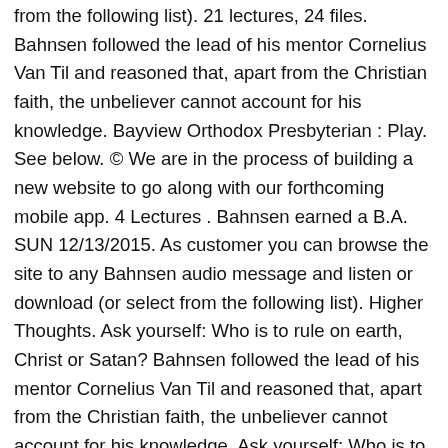from the following list). 21 lectures, 24 files. Bahnsen followed the lead of his mentor Cornelius Van Til and reasoned that, apart from the Christian faith, the unbeliever cannot account for his knowledge. Bayview Orthodox Presbyterian : Play. See below. © We are in the process of building a new website to go along with our forthcoming mobile app. 4 Lectures . Bahnsen earned a B.A. SUN 12/13/2015. As customer you can browse the site to any Bahnsen audio message and listen or download (or select from the following list). Higher Thoughts. Ask yourself: Who is to rule on earth, Christ or Satan? Bahnsen followed the lead of his mentor Cornelius Van Til and reasoned that, apart from the Christian faith, the unbeliever cannot account for his knowledge. Ask yourself: Who is to rule on earth, Christ or Satan? Greg Bahnsen (1948-1995) was the scholar in residence at The Southern California Center for Christian Studies where he taught Apologetics from a distinctly Reformed perspective. Gun Control Debate. Destroyer of atheistic superstitions! Who was